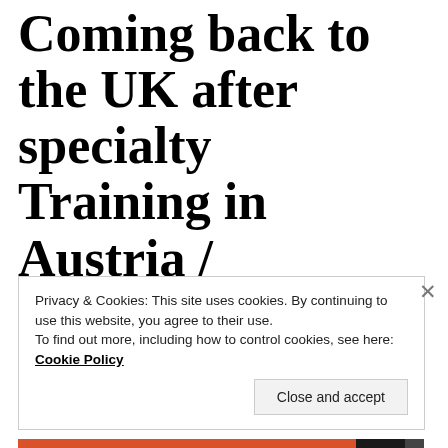Coming back to the UK after specialty Training in Austria / Germany / Switzerland
Privacy & Cookies: This site uses cookies. By continuing to use this website, you agree to their use.
To find out more, including how to control cookies, see here: Cookie Policy